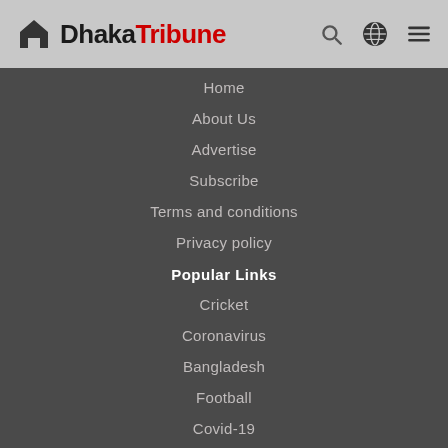Dhaka Tribune
Home
About Us
Advertise
Subscribe
Terms and conditions
Privacy policy
Popular Links
Cricket
Coronavirus
Bangladesh
Football
Covid-19
India
Donald Trump
Connect With Us